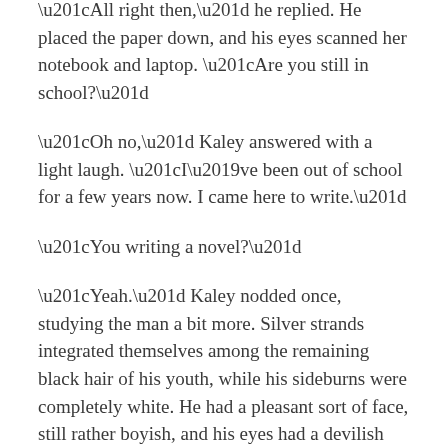“All right then,” he replied. He placed the paper down, and his eyes scanned her notebook and laptop. “Are you still in school?”
“Oh no,” Kaley answered with a light laugh. “I’ve been out of school for a few years now. I came here to write.”
“You writing a novel?”
“Yeah.” Kaley nodded once, studying the man a bit more. Silver strands integrated themselves among the remaining black hair of his youth, while his sideburns were completely white. He had a pleasant sort of face, still rather boyish, and his eyes had a devilish gleam.